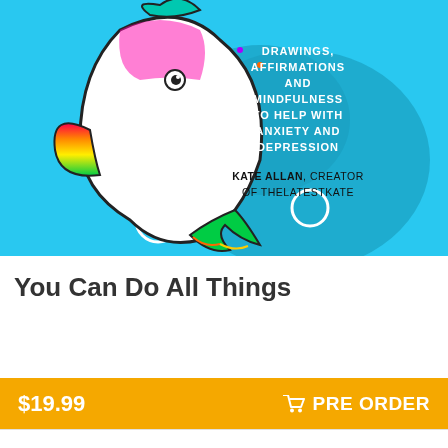[Figure (illustration): Book cover illustration showing a colorful cartoon shark/narwhal with rainbow-colored fins and tail on a bright blue background with bubbles and a dark blue speech bubble shape. Text on cover reads: DRAWINGS, AFFIRMATIONS AND MINDFULNESS TO HELP WITH ANXIETY AND DEPRESSION. KATE ALLAN, CREATOR OF THELATESTKATE]
You Can Do All Things
$19.99
PRE ORDER